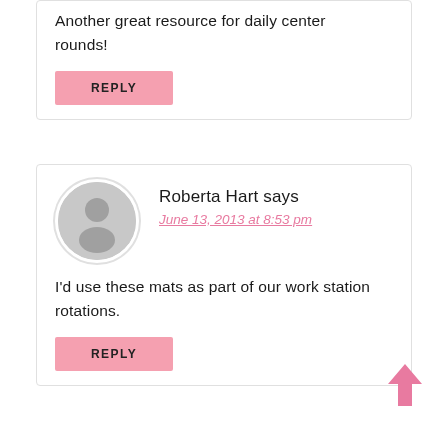Another great resource for daily center rounds!
REPLY
Roberta Hart says
June 13, 2013 at 8:53 pm
I'd use these mats as part of our work station rotations.
REPLY